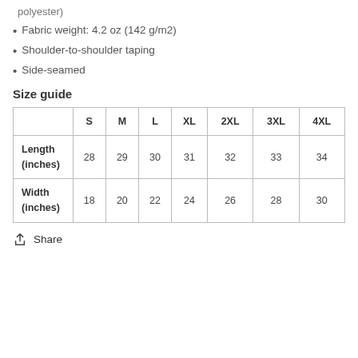polyester)
Fabric weight: 4.2 oz (142 g/m2)
Shoulder-to-shoulder taping
Side-seamed
Size guide
|  | S | M | L | XL | 2XL | 3XL | 4XL |
| --- | --- | --- | --- | --- | --- | --- | --- |
| Length (inches) | 28 | 29 | 30 | 31 | 32 | 33 | 34 |
| Width (inches) | 18 | 20 | 22 | 24 | 26 | 28 | 30 |
Share